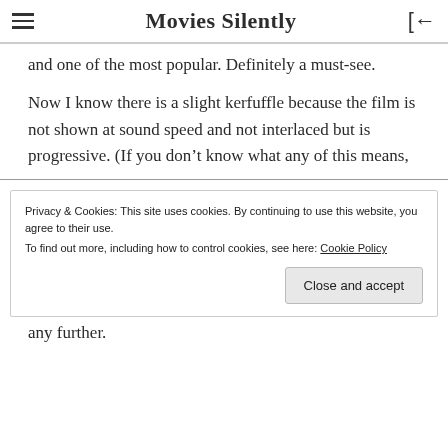Movies Silently
and one of the most popular. Definitely a must-see.
Now I know there is a slight kerfuffle because the film is not shown at sound speed and not interlaced but is progressive. (If you don't know what any of this means,
Privacy & Cookies: This site uses cookies. By continuing to use this website, you agree to their use.
To find out more, including how to control cookies, see here: Cookie Policy
any further.